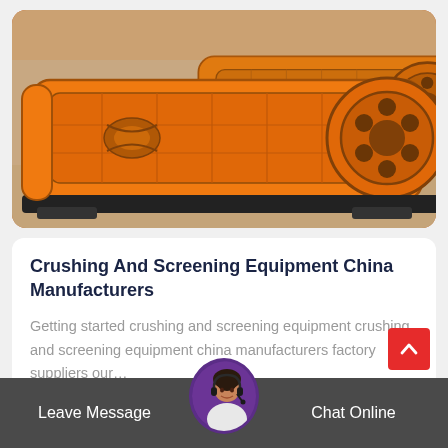[Figure (photo): Orange industrial crushing and screening machine equipment on a factory floor, photographed from an angle showing the heavy metal frame, flywheel, and mechanical components.]
Crushing And Screening Equipment China Manufacturers
Getting started crushing and screening equipment crushing and screening equipment china manufacturers factory suppliers our…
[Figure (photo): Customer service agent avatar — woman with headset in a circular purple-bordered profile photo]
Leave Message   Chat Online